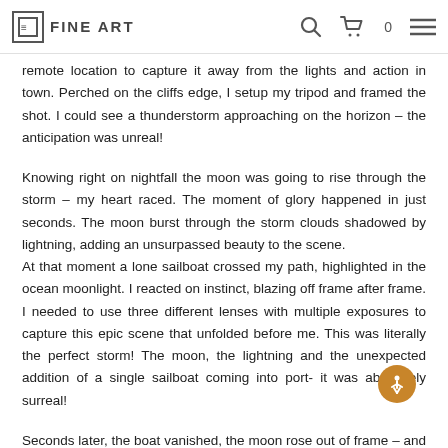FINE ART
remote location to capture it away from the lights and action in town. Perched on the cliffs edge, I setup my tripod and framed the shot. I could see a thunderstorm approaching on the horizon – the anticipation was unreal!
Knowing right on nightfall the moon was going to rise through the storm – my heart raced. The moment of glory happened in just seconds. The moon burst through the storm clouds shadowed by lightning, adding an unsurpassed beauty to the scene. At that moment a lone sailboat crossed my path, highlighted in the ocean moonlight. I reacted on instinct, blazing off frame after frame. I needed to use three different lenses with multiple exposures to capture this epic scene that unfolded before me. This was literally the perfect storm! The moon, the lightning and the unexpected addition of a single sailboat coming into port- it was absolutely surreal!
Seconds later, the boat vanished, the moon rose out of frame – and I was left with the sound of thunder echoing across the bay. I was